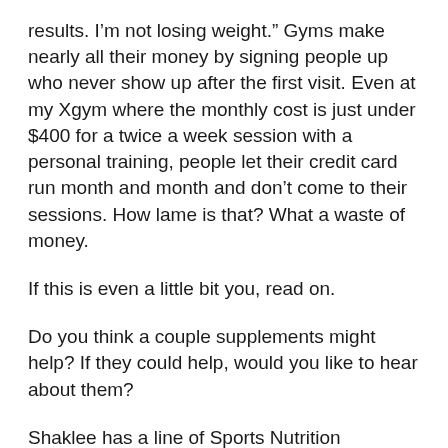results. I’m not losing weight.” Gyms make nearly all their money by signing people up who never show up after the first visit. Even at my Xgym where the monthly cost is just under $400 for a twice a week session with a personal training, people let their credit card run month and month and don’t come to their sessions. How lame is that? What a waste of money.
If this is even a little bit you, read on.
Do you think a couple supplements might help? If they could help, would you like to hear about them?
Shaklee has a line of Sports Nutrition developed for elete athletes at the request of several different agencies over the last 30+ years. First there was the Daedalus Project where Leonardo DaVinci’s human powered airplane was built by some students at MIT. To power the bicycle with wings, they needed a fuel that would keep a cyclist peddling non-stop from